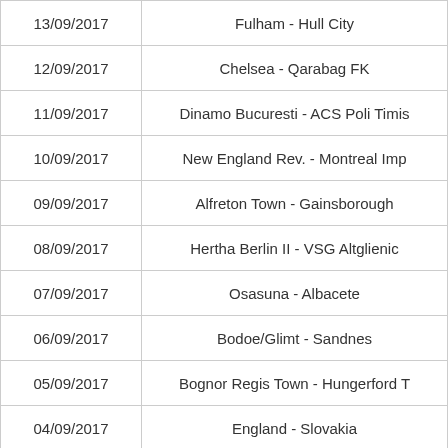| 13/09/2017 | Fulham - Hull City |
| 12/09/2017 | Chelsea - Qarabag FK |
| 11/09/2017 | Dinamo Bucuresti - ACS Poli Timis |
| 10/09/2017 | New England Rev. - Montreal Imp |
| 09/09/2017 | Alfreton Town - Gainsborough |
| 08/09/2017 | Hertha Berlin II - VSG Altglienic |
| 07/09/2017 | Osasuna - Albacete |
| 06/09/2017 | Bodoe/Glimt - Sandnes |
| 05/09/2017 | Bognor Regis Town - Hungerford T |
| 04/09/2017 | England - Slovakia |